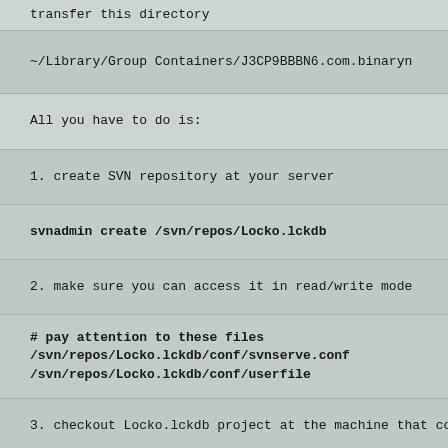transfer this directory
~/Library/Group Containers/J3CP9BBBN6.com.binary...
All you have to do is:
1. create SVN repository at your server
svnadmin create /svn/repos/Locko.lckdb
2. make sure you can access it in read/write mode
# pay attention to these files
/svn/repos/Locko.lckdb/conf/svnserve.conf
/svn/repos/Locko.lckdb/conf/userfile
3. checkout Locko.lckdb project at the machine that contains Lock...